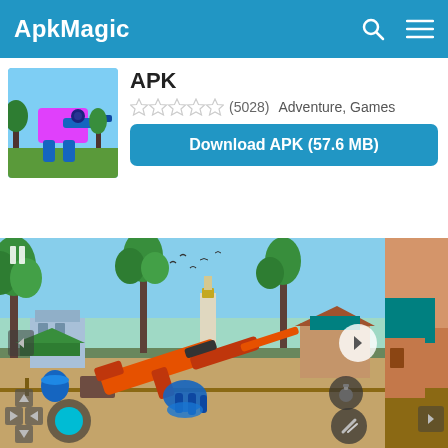ApkMagic
APK
(5028)  Adventure, Games
Download APK (57.6 MB)
[Figure (screenshot): App store page screenshot showing a robot shooting game with a tropical village background, orange assault rifle, game HUD controls]
[Figure (screenshot): Partial next screenshot visible on right edge showing warm-toned scene]